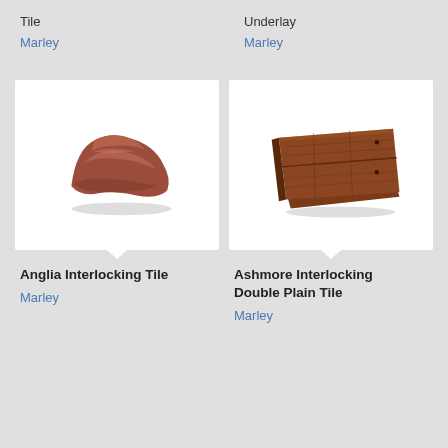Tile
Underlay
Marley
Marley
[Figure (photo): Anglia Interlocking Tile - a curved reddish-brown concrete/clay roof tile shown in perspective view]
[Figure (photo): Ashmore Interlocking Double Plain Tile - a flat reddish-brown wooden/clay roof tile shown in perspective view]
Anglia Interlocking Tile
Ashmore Interlocking Double Plain Tile
Marley
Marley